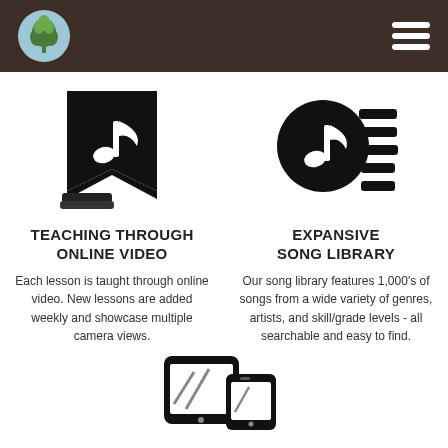[Figure (logo): Navigation header bar with tree logo and hamburger menu on dark brown background]
[Figure (illustration): Music note bookmark icon (black) representing teaching through online video]
[Figure (illustration): Music note with list/library lines icon (black) representing expansive song library]
TEACHING THROUGH ONLINE VIDEO
Each lesson is taught through online video. New lessons are added weekly and showcase multiple camera views.
EXPANSIVE SONG LIBRARY
Our song library features 1,000's of songs from a wide variety of genres, artists, and skill/grade levels - all searchable and easy to find.
[Figure (illustration): Mobile phone and smartphone icons (black) at bottom center of page]